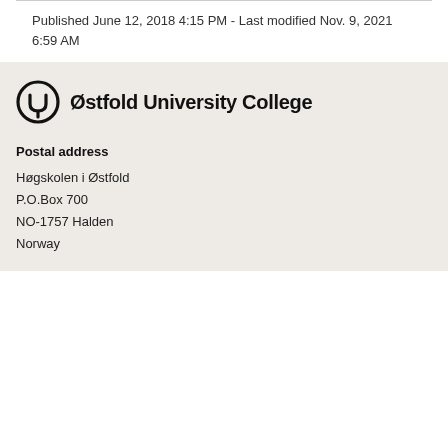Published June 12, 2018 4:15 PM - Last modified Nov. 9, 2021 6:59 AM
[Figure (logo): Østfold University College logo — circular icon with stylized 'U' shape and the text 'Østfold University College' in bold]
Postal address
Høgskolen i Østfold
P.O.Box 700
NO-1757 Halden
Norway